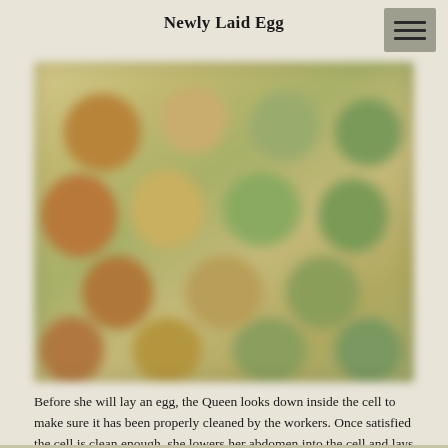Newly Laid Egg
[Figure (photo): Close-up blurred photograph of honeycomb cells viewed from above, showing hexagonal cells in shades of brown, tan, olive green, and yellow-green, resembling newly laid bee eggs inside comb cells.]
Before she will lay an egg, the Queen looks down inside the cell to make sure it has been properly cleaned by the workers. Once satisfied the cell is clean enough, she lowers her abdomen into the cell and lays a single egg.